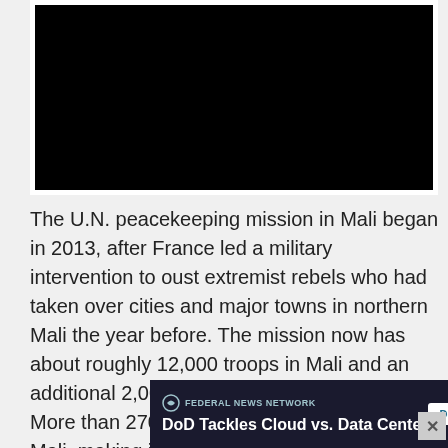[Figure (photo): Black video player embed rectangle]
The U.N. peacekeeping mission in Mali began in 2013, after France led a military intervention to oust extremist rebels who had taken over cities and major towns in northern Mali the year before. The mission now has about roughly 12,000 troops in Mali and an additional 2,000 police and other officers. More than 270 peacekeepers have died in Mali, making it the U.N.'s... official...
[Figure (screenshot): Advertisement banner: DoD Tackles Cloud vs. Data Center — Federal News Network — Download Now]